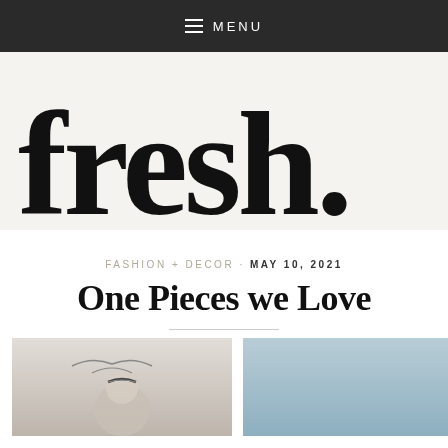≡ MENU
fresh.
FASHION + DECOR · MAY 10, 2021
One Pieces we Love
[Figure (photo): Two photographs side by side: left shows a woman with hair accessories against a light sky background; right shows a pale blue sky background.]